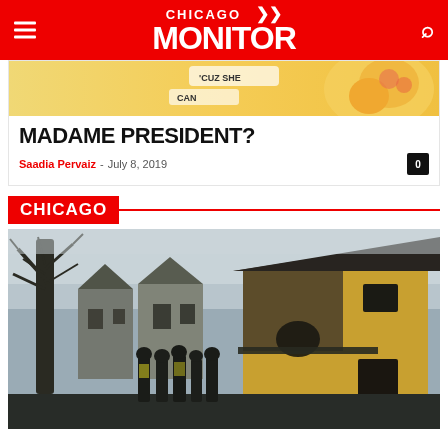CHICAGO MONITOR
[Figure (illustration): Partial view of an illustrated image at top of article card]
MADAME PRESIDENT?
Saadia Pervaiz – July 8, 2019
CHICAGO
[Figure (photo): Firefighters standing in front of a fire-damaged yellow house in a residential Chicago neighborhood. Bare winter trees visible on left. Dark smoke damage visible on house. Several firefighters in gear visible in foreground.]